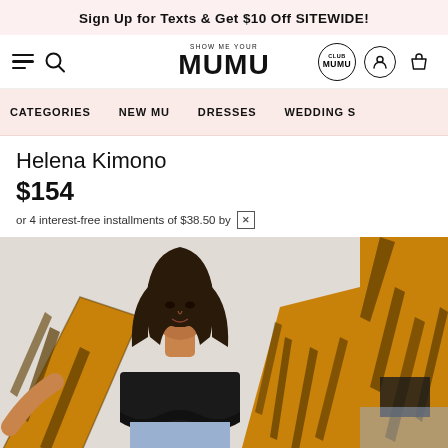Sign Up for Texts & Get $10 Off SITEWIDE!
[Figure (screenshot): Show Me Your MUMU logo with hamburger menu, search icon, Club MUMU badge, user icon, and cart icon]
CATEGORIES   NEW MU   DRESSES   WEDDINGS
Helena Kimono
$154
or 4 interest-free installments of $38.50 by
[Figure (photo): Woman wearing a yellow/gold tiger print kimono over a black crop top and light jeans, posing with arms slightly outstretched]